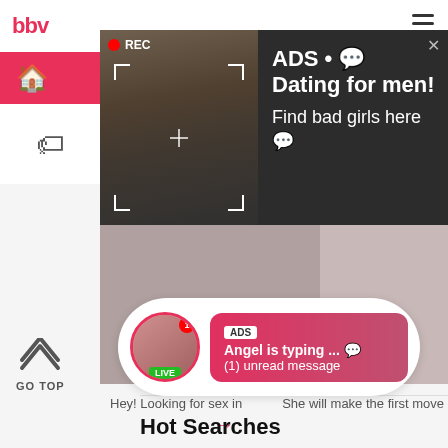bbv
[Figure (screenshot): Dark ad popup overlay with a selfie photo on the left showing a woman taking a mirror photo with camera viewfinder corners and REC badge, and ad text on the right: ADS • Dating for men! Find bad girls here]
ADS • 💬 Dating for men! Find bad girls here 💬
[Figure (screenshot): Chat notification bubble showing avatar with LIVE badge and notification number 1, with pink gradient message box: ADS Angel is typing ... 💬 (1) unread message]
Angel is typing ... 💬
(1) unread message
Hey! Looking for sex in
She will make the first move
move
GO TOP
Hot Searches